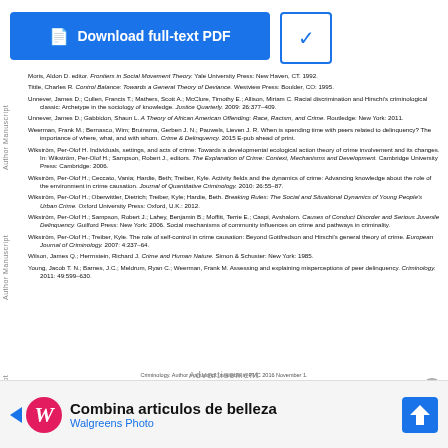[Figure (other): Download full-text PDF button and dropdown arrow button]
Moris. Aldon D. editor. Frontiers in Social Movement Theory. Yale University Press: New Haven, CT. 1992.
Tittle, Charles R. Control Balance: Towards a General Theory of Deviance. Westview Press: Boulder, CO: 1995.
Unnever, James D.; Cullen, Francis T.; Mathers, Scott A.; McClure, Timothy E.; Allison, Miriam C. Racial discrimination and Hirschi's criminological classic: Archetype in the sociology of knowledge. Justice Quarterly. 2009: 26:377–409.
Unnever, James D.; Gabbidon, Shaun L. A Theory of African American Offending: Race, Racism, and Crime. Routledge: New York: 2011.
Weerman, Frank M.; Bernasco, Wim; Bruinsma, Gerben J. N.; Pauwels, Lieven J. R. When is spending time with peers related to delinquency? The importance of where, what, and with whom. Crime & Delinquency. 2015 E-pub ahead of print.
Wikström, Per-Olof H. Individuals, settings, and acts of crime: Towards a developmental ecological action theory of crime involvement and its changes. In: Wikström, Per-Olof H.; Sampson, Robert J., editors. The Explanation of Crime: Context, Mechanisms and Development. Cambridge University Press: Cambridge: 2006.
Wikström, Per-Olof H.; Ceccato, Vania; Hardie, Beth; Treiber, Kyle. Activity fields and the dynamics of crime: Advancing knowledge about the role of the environment in crime causation. Journal of Quantitative Criminology. 2010: 26:55–87.
Wikström, Per-Olof H.; Oberwittler, Dietrich; Treiber, Kyle; Hardie, Beth. Breaking Rules: The Social and Situational Dynamics of Young People's Urban Crime. Oxford University Press: Oxford, U.K.: 2012.
Wikström, Per-Olof H.; Sampson, Robert J.; Lahey, Benjamin B.; Moffitt, Terrie E.; Caspi, Avshalom. Causes of Conduct Disorder and Serious Juvenile Delinquency. Guilford Press: New York: 2006. Social mechanisms of community influences on crime and pathways in criminality.
Wikström, Per-Olof H.; Treiber, Kyle. The role of self-control in crime causation: Beyond Gottfredson and Hirschi's general theory of crime. European Journal of Criminology. 2007: 4:237–64.
Wilson, James Q.; Herrnstein, Richard J. Crime and Human Nature. Simon & Schuster: New York: 1985.
Young, Jacob T. N.; Barnes, J.C.; Meldrum, Ryan C.; Weerman, Frank M. Assessing and explaining misperceptions of peer delinquency. Criminology. 2011: 49:599–630.
Criminology. Author manuscript; available in PMC 2016 November 1.